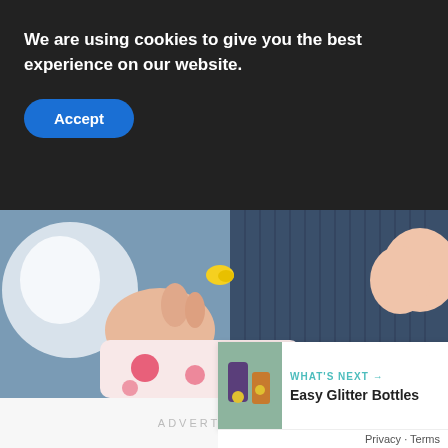We are using cookies to give you the best experience on our website.
Accept
[Figure (photo): Close-up photo of a baby drinking from a bottle, wearing a white and pink polka-dot outfit, lying on a dark blue ribbed surface.]
ADVERTISEMENT
1
WHAT'S NEXT →
Easy Glitter Bottles
Privacy · Terms